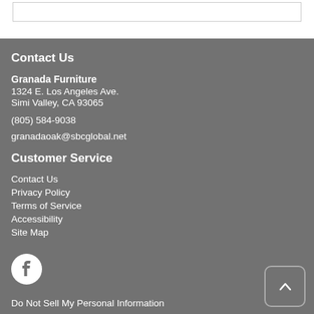Contact Us
Granada Furniture
1324 E. Los Angeles Ave.
Simi Valley, CA 93065

(805) 584-9038

granadaoak@sbcglobal.net
Customer Service
Contact Us
Privacy Policy
Terms of Service
Accessibility
Site Map
[Figure (logo): Facebook logo icon]
Do Not Sell My Personal Information